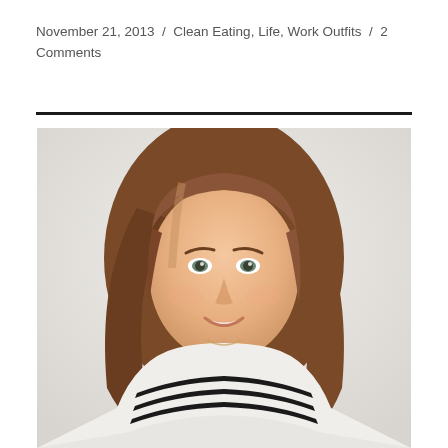November 21, 2013  /  Clean Eating, Life, Work Outfits  /  2 Comments
[Figure (photo): Portrait photo of a smiling young woman with shoulder-length brown hair, wearing a black and white striped top, photographed against a light grey/white background.]